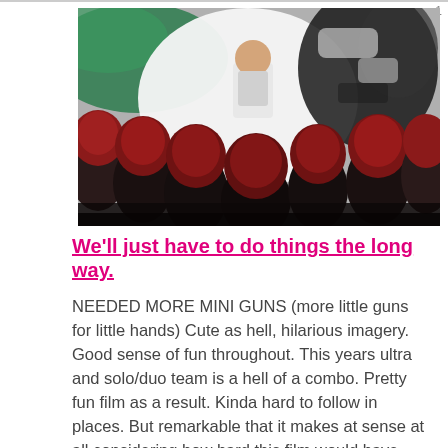[Figure (photo): Movie still or promotional image showing armored/costumed figures with red helmets surrounding a central figure, with black and white and green background imagery.]
We'll just have to do things the long way.
NEEDED MORE MINI GUNS (more little guns for little hands) Cute as hell, hilarious imagery. Good sense of fun throughout. This years ultra and solo/duo team is a hell of a combo. Pretty fun film as a result. Kinda hard to follow in places. But remarkable that it makes at sense at all considering how hard this film would have been to